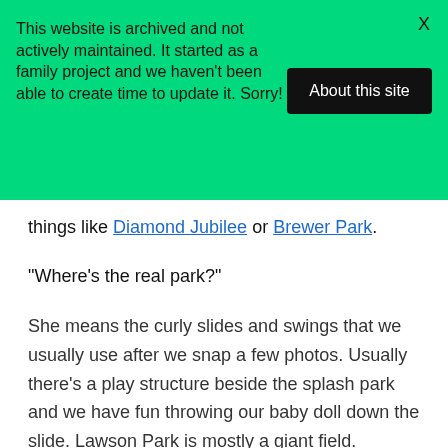This website is archived and not actively maintained. It started as a family project and we haven't been able to create time to update it. Sorry!
About this site
X
things like Diamond Jubilee or Brewer Park.
“Where’s the real park?”
She means the curly slides and swings that we usually use after we snap a few photos. Usually there’s a play structure beside the splash park and we have fun throwing our baby doll down the slide. Lawson Park is mostly a giant field.